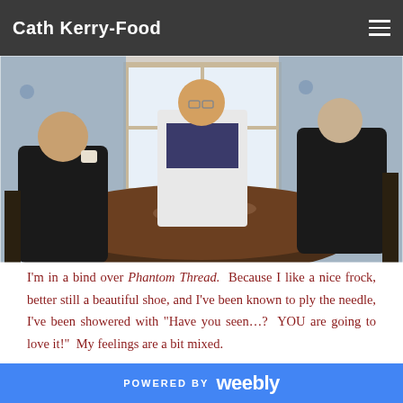Cath Kerry-Food
[Figure (photo): Three people seated around a round dining table with food and dishes. An older man sits in the center near a window, with a woman on the left holding a cup and another person on the right looking down. The setting appears to be a formal dining room with floral wallpaper.]
I'm in a bind over Phantom Thread. Because I like a nice frock, better still a beautiful shoe, and I've been known to ply the needle, I've been showered with “Have you seen…? YOU are going to love it!” My feelings are a bit mixed.
One does have to spend about two hours with a very
POWERED BY weebly